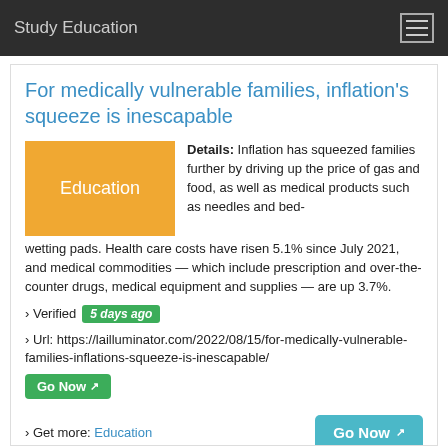Study Education
For medically vulnerable families, inflation’s squeeze is inescapable
[Figure (other): Orange badge with white text reading 'Education']
Details: Inflation has squeezed families further by driving up the price of gas and food, as well as medical products such as needles and bed-wetting pads. Health care costs have risen 5.1% since July 2021, and medical commodities — which include prescription and over-the-counter drugs, medical equipment and supplies — are up 3.7%.
› Verified 5 days ago
› Url: https://lailluminator.com/2022/08/15/for-medically-vulnerable-families-inflations-squeeze-is-inescapable/
Go Now
› Get more: Education